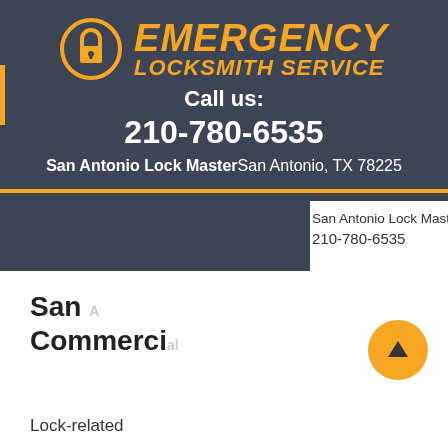[Figure (logo): Emergency Locksmith Service logo with padlock icon and gold text on dark gray background]
Call us:
210-780-6535
San Antonio Lock Master San Antonio, TX 78225
San Antonio Lock Master San Antonio, TX
210-780-6535
San Antonio
Commercial
Lock-related